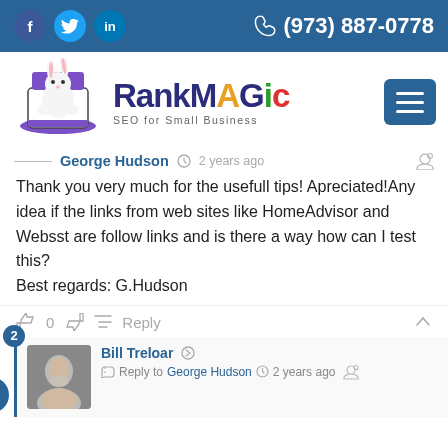f  in  (973) 887-0778
[Figure (logo): RankMagic SEO for Small Business logo with rabbit in magician hat]
George Hudson  2 years ago
Thank you very much for the usefull tips! Apreciated!Any idea if the links from web sites like HomeAdvisor and Websst are follow links and is there a way how can I test this?
Best regards: G.Hudson
0  Reply
2  Bill Treloar  Reply to George Hudson  2 years ago